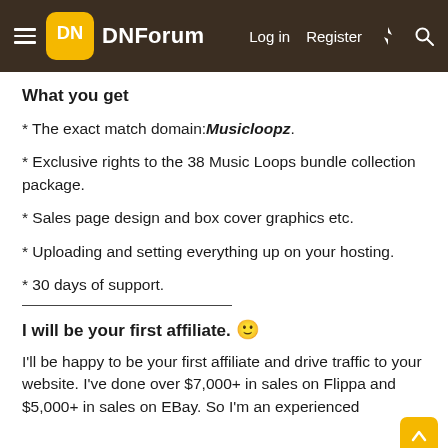DNForum | Log in | Register
What you get
* The exact match domain: Musicloopz.
* Exclusive rights to the 38 Music Loops bundle collection package.
* Sales page design and box cover graphics etc.
* Uploading and setting everything up on your hosting.
* 30 days of support.
I will be your first affiliate. 🙂
I'll be happy to be your first affiliate and drive traffic to your website. I've done over $7,000+ in sales on Flippa and $5,000+ in sales on EBay. So I'm an experienced